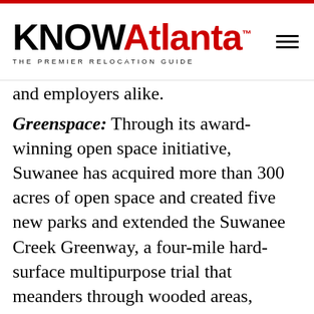KNOWAtlanta THE PREMIER RELOCATION GUIDE
and employers alike.
Greenspace: Through its award-winning open space initiative, Suwanee has acquired more than 300 acres of open space and created five new parks and extended the Suwanee Creek Greenway, a four-mile hard-surface multipurpose trial that meanders through wooded areas, wetlands and wildlife habitat, connecting 400 acres of parkland, as well as residential and